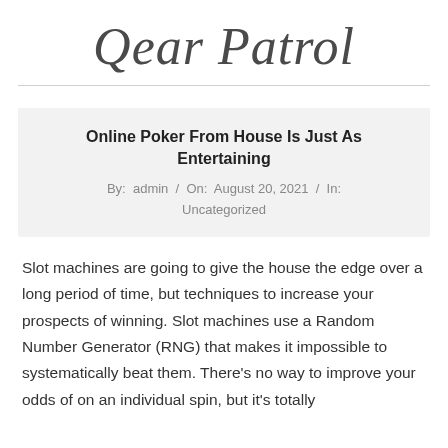Qear Patrol
Online Poker From House Is Just As Entertaining
By: admin / On: August 20, 2021 / In: Uncategorized
Slot machines are going to give the house the edge over a long period of time, but techniques to increase your prospects of winning. Slot machines use a Random Number Generator (RNG) that makes it impossible to systematically beat them. There’s no way to improve your odds of on an individual spin, but it’s totally